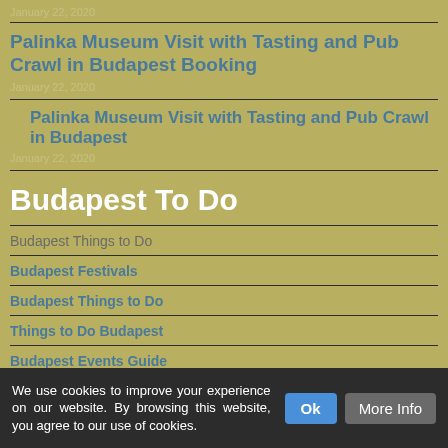January 22, 2020
Palinka Museum Visit with Tasting and Pub Crawl in Budapest Booking
January 22, 2020
Palinka Museum Visit with Tasting and Pub Crawl in Budapest
January 22, 2020
Budapest To Do
Budapest Things to Do
Budapest Festivals
Budapest Things to Do
Things to Do Budapest
Budapest Events Guide
We use cookies to improve your experience on our website. By browsing this website, you agree to our use of cookies.